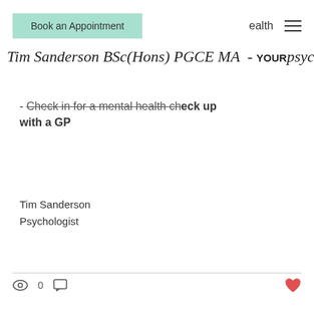Book an Appointment | health
Tim Sanderson BSc(Hons) PGCE MA - YOUR Psychologist
- Check in for a mental health check up with a GP
Tim Sanderson
Psychologist
0